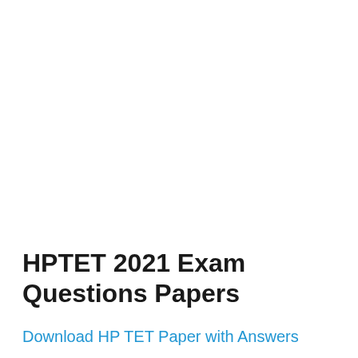HPTET 2021 Exam Questions Papers
Download HP TET Paper with Answers